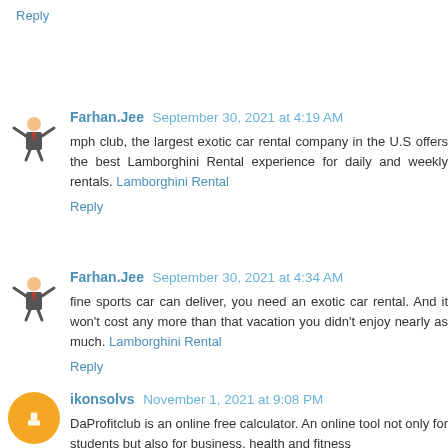Reply
Farhan.Jee September 30, 2021 at 4:19 AM
mph club, the largest exotic car rental company in the U.S offers the best Lamborghini Rental experience for daily and weekly rentals. Lamborghini Rental
Reply
Farhan.Jee September 30, 2021 at 4:34 AM
fine sports car can deliver, you need an exotic car rental. And it won't cost any more than that vacation you didn't enjoy nearly as much. Lamborghini Rental
Reply
ikonsolvs November 1, 2021 at 9:08 PM
DaProfitclub is an online free calculator. An online tool not only for students but also for business, health and fitness